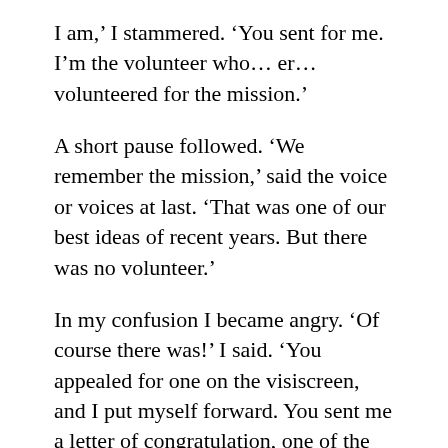I am,’ I stammered. ‘You sent for me. I’m the volunteer who… er… volunteered for the mission.’
A short pause followed. ‘We remember the mission,’ said the voice or voices at last. ‘That was one of our best ideas of recent years. But there was no volunteer.’
In my confusion I became angry. ‘Of course there was!’ I said. ‘You appealed for one on the visiscreen, and I put myself forward. You sent me a letter of congratulation, one of the finest I ever tasted, and put me through a gruelling training programme. Then you invited me to come and meet you before I set out for the